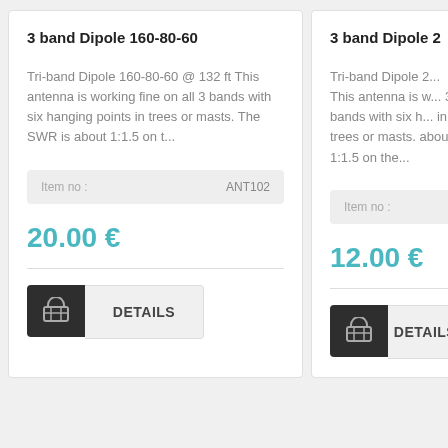3 band Dipole 160-80-60
Tri-band Dipole 160-80-60 @ 132 ft This antenna is working fine on all 3 bands with six hanging points in trees or masts. The SWR is about 1:1.5 on t...
Item no : ANT102
20.00 €
DETAILS
3 band Dipole 2
Tri-band Dipole 2... This antenna is w... 3 bands with six h... in trees or masts. about 1:1.5 on the...
Item no :
12.00 €
DETAILS